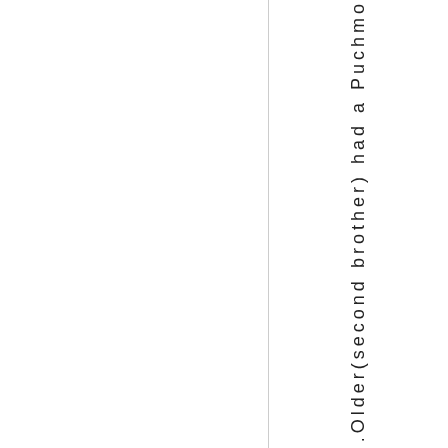.Older(second brother) had a Puchmo